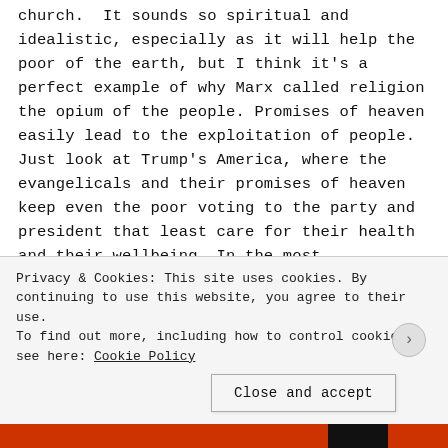church. It sounds so spiritual and idealistic, especially as it will help the poor of the earth, but I think it's a perfect example of why Marx called religion the opium of the people. Promises of heaven easily lead to the exploitation of people. Just look at Trump's America, where the evangelicals and their promises of heaven keep even the poor voting to the party and president that least care for their health and their wellbeing. In the most
Privacy & Cookies: This site uses cookies. By continuing to use this website, you agree to their use. To find out more, including how to control cookies, see here: Cookie Policy